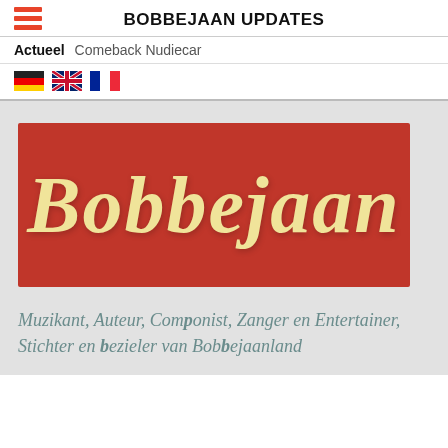BOBBEJAAN UPDATES
Actueel   Comeback Nudiecar
[Figure (illustration): Flag icons for German, UK, and French languages]
[Figure (logo): Red banner with stylized 'Bobbejaan' text in cream/yellow italic lettering]
Muzikant, Auteur, Componist, Zanger en Entertainer, Stichter en bezieler van Bobbejaanland